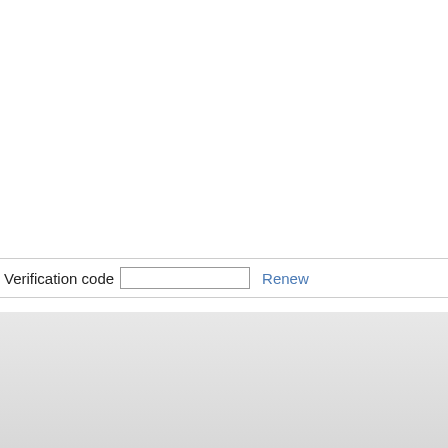Verification code   Renew
About Us| Contact Us| Join Us| Servic... Copyright